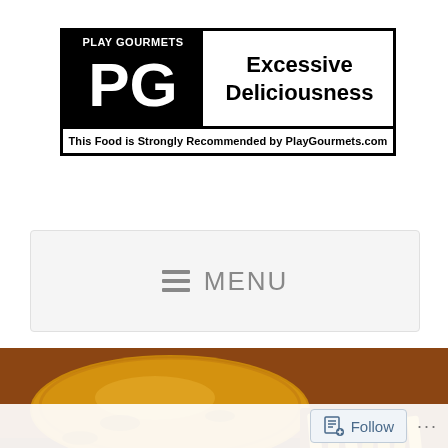[Figure (infographic): Play Gourmets PG rating badge. Black bordered box with 'PLAY GOURMETS' header in white on black background on left panel showing large 'PG' in white, right panel in white showing 'Excessive Deliciousness', bottom strip: 'This Food is Strongly Recommended by PlayGourmets.com']
[Figure (screenshot): Mobile website navigation menu bar showing hamburger icon and MENU text in gray on light gray background]
[Figure (photo): Close-up food photo of what appears to be a cheesy sandwich or sub and french fries on a tray, warm tones]
[Figure (screenshot): Bottom bar with Follow button and ellipsis menu dots]